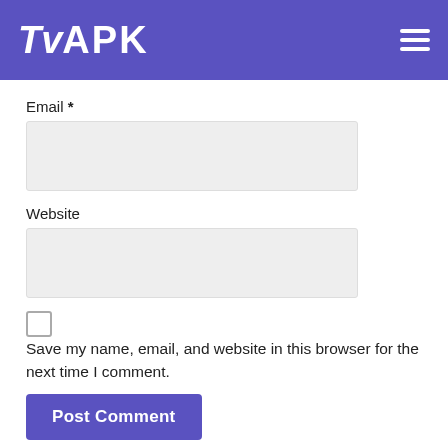TvAPK
Email *
Website
Save my name, email, and website in this browser for the next time I comment.
Post Comment
CATEGORIES
MOST RATED APPS